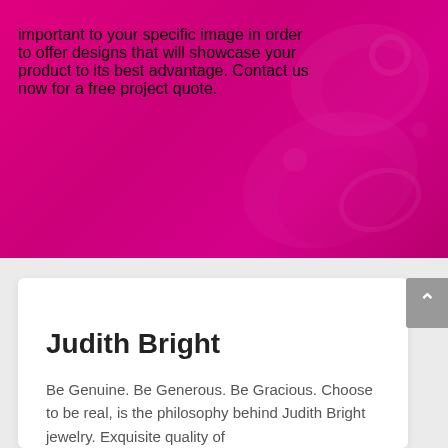important to your specific image in order to offer designs that will showcase your product to its best advantage. Contact us now for a free project quote.
[Figure (illustration): Decorative jewelry/accessory silhouette shapes overlaid on magenta/pink background]
Judith Bright
Be Genuine. Be Generous. Be Gracious. Choose to be real, is the philosophy behind Judith Bright jewelry. Exquisite quality of